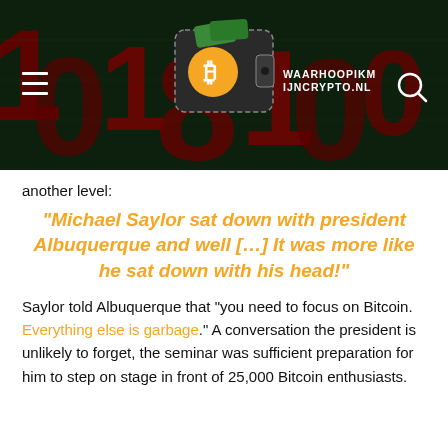[Figure (logo): Website header banner with dark green/black background showing large red/orange numbers, a crypto wallet logo (black wallet with orange Bitcoin coin and dashed border), and site name WAARHOOPIKMIIJNCRYPTO.NL in white uppercase letters. Hamburger menu icon on left, search icon on right.]
another level:
“Michael Saylor sat down with president Albuquerque and well […] It was more like he sat down with his head!”
Saylor told Albuquerque that “you need to focus on Bitcoin. Everything else is garbage.” A conversation the president is unlikely to forget, the seminar was sufficient preparation for him to step on stage in front of 25,000 Bitcoin enthusiasts.